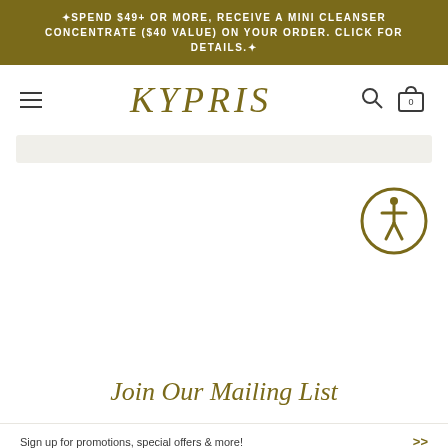✦SPEND $49+ OR MORE, RECEIVE A MINI CLEANSER CONCENTRATE ($40 VALUE) ON YOUR ORDER. CLICK FOR DETAILS.✦
KYPRIS
[Figure (logo): Hamburger menu icon (three horizontal lines)]
[Figure (illustration): Search magnifying glass icon]
[Figure (illustration): Shopping cart bag icon with count 0]
[Figure (illustration): Accessibility icon - circular gold badge with person figure inside]
Join Our Mailing List
Sign up for promotions, special offers & more!